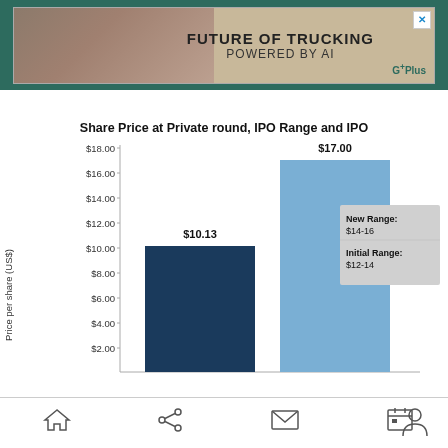[Figure (other): Advertisement banner: FUTURE OF TRUCKING POWERED BY AI, with truck background image and G Plus logo]
[Figure (bar-chart): Share Price at Private round, IPO Range and IPO]
Home | Share | Mail | Calendar | Profile